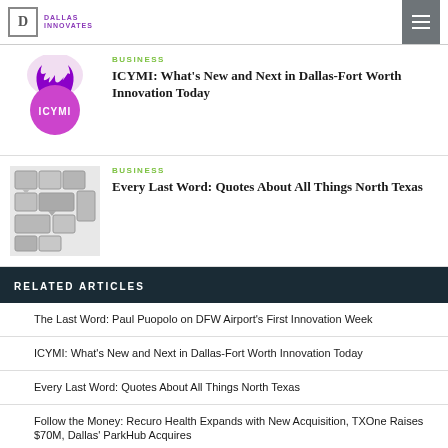DALLAS INNOVATES
[Figure (logo): ICYMI purple speech bubble with flame logo]
BUSINESS
ICYMI: What's New and Next in Dallas-Fort Worth Innovation Today
[Figure (illustration): Map illustration of North Texas counties as speech bubbles]
BUSINESS
Every Last Word: Quotes About All Things North Texas
RELATED ARTICLES
The Last Word: Paul Puopolo on DFW Airport's First Innovation Week
ICYMI: What's New and Next in Dallas-Fort Worth Innovation Today
Every Last Word: Quotes About All Things North Texas
Follow the Money: Recuro Health Expands with New Acquisition, TXOne Raises $70M, Dallas' ParkHub Acquires